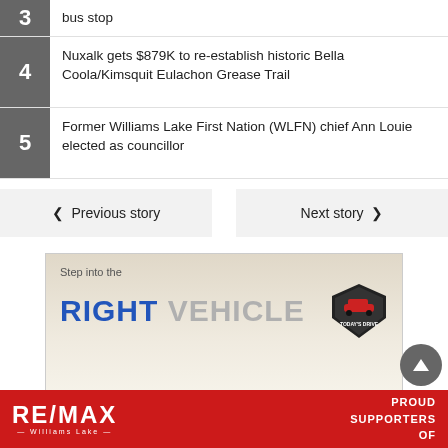3 - bus stop
4 - Nuxalk gets $879K to re-establish historic Bella Coola/Kimsquit Eulachon Grease Trail
5 - Former Williams Lake First Nation (WLFN) chief Ann Louie elected as councillor
< Previous story   Next story >
[Figure (advertisement): Today's Drive ad: Step into the RIGHT VEHICLE with shield logo]
[Figure (advertisement): RE/MAX Williams Lake - PROUD SUPPORTERS OF banner in red]